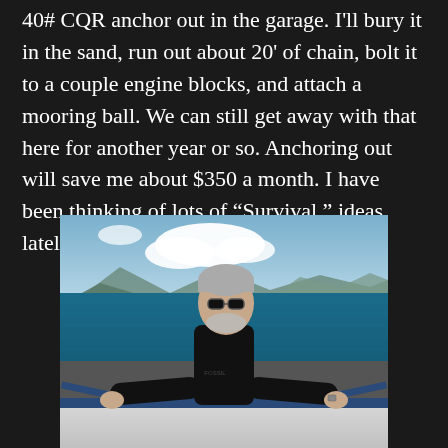40# CQR anchor out in the garage. I'll bury it in the sand, run out about 20' of chain, bolt it to a couple engine blocks, and attach a mooring ball. We can still get away with that here for another year or so. Anchoring out will save me about $350 a month. I have been thinking of lots of “Survival ” ideas lately.
[Figure (photo): A middle-aged man with gray hair and a beard wearing sunglasses and a black t-shirt, standing on a boat deck with his arms spread wide on the railing. Behind him is blue ocean water and mountains/hills in the background under a partly cloudy sky.]